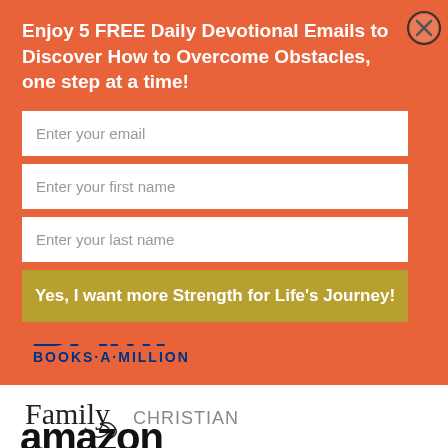Enjoy 5 FREE Daily Devotional Emails to Discover How to Overcome Obstacles, one step at a time!
Enter your email
Enter your first name
Enter your last name
Yes, I want more Strength for Life's Journey!
[Figure (logo): BAM! Books-A-Million logo in blue and white]
[Figure (logo): Family Christian logo in black and grey]
[Figure (logo): Amazon logo, partially visible at bottom]